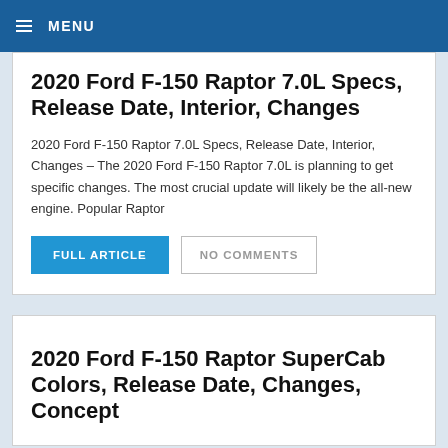MENU
2020 Ford F-150 Raptor 7.0L Specs, Release Date, Interior, Changes
2020 Ford F-150 Raptor 7.0L Specs, Release Date, Interior, Changes – The 2020 Ford F-150 Raptor 7.0L is planning to get specific changes. The most crucial update will likely be the all-new engine. Popular Raptor
FULL ARTICLE
NO COMMENTS
2020 Ford F-150 Raptor SuperCab Colors, Release Date, Changes, Concept